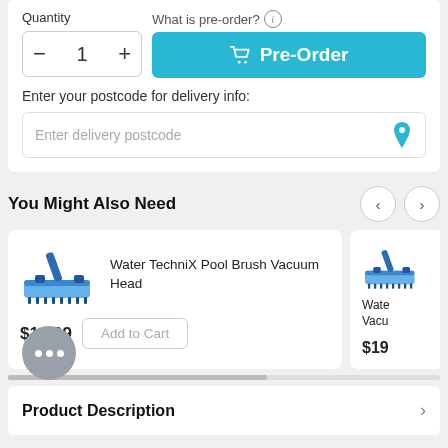Quantity
What is pre-order? i
- 1 +
Pre-Order
Enter your postcode for delivery info:
Enter delivery postcode
You Might Also Need
[Figure (screenshot): Product card: Water TechniX Pool Brush Vacuum Head, $16.99, Add to Cart button with pool brush vacuum head image]
[Figure (screenshot): Partially visible second product card: Water [TechniX] Vacu[um], $19[...]]
Product Description